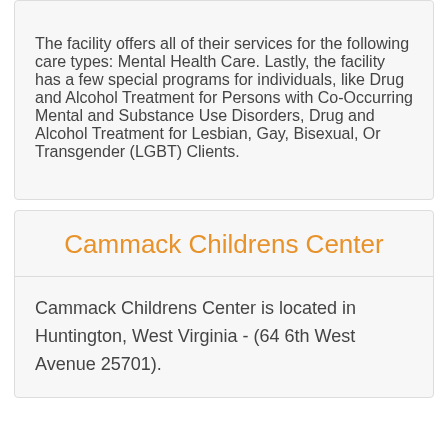The facility offers all of their services for the following care types: Mental Health Care. Lastly, the facility has a few special programs for individuals, like Drug and Alcohol Treatment for Persons with Co-Occurring Mental and Substance Use Disorders, Drug and Alcohol Treatment for Lesbian, Gay, Bisexual, Or Transgender (LGBT) Clients.
Cammack Childrens Center
Cammack Childrens Center is located in Huntington, West Virginia - (64 6th West Avenue 25701).